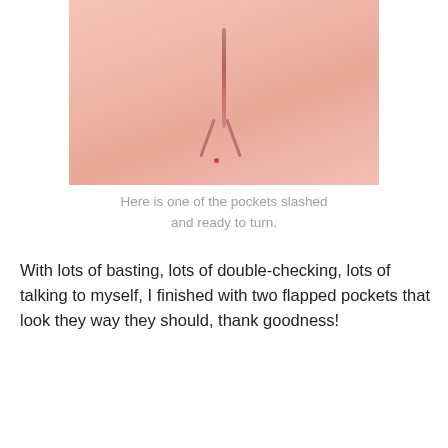[Figure (photo): Close-up photo of a fabric pocket piece slashed in the center and ready to be turned, showing pink fabric with a vertical slash and V-cut at the bottom.]
Here is one of the pockets slashed and ready to turn.
With lots of basting, lots of double-checking, lots of talking to myself, I finished with two flapped pockets that look they way they should, thank goodness!
[Figure (photo): Close-up photo of pink fabric showing a completed flapped pocket, with a plaid fabric visible at the top right corner.]